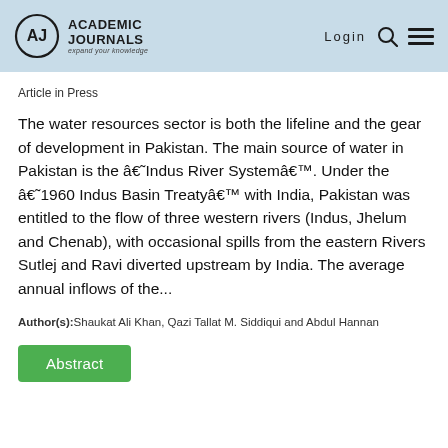ACADEMIC JOURNALS — expand your knowledge | Login
Article in Press
The water resources sector is both the lifeline and the gear of development in Pakistan. The main source of water in Pakistan is the â€˜Indus River Systemâ€™. Under the â€˜1960 Indus Basin Treatyâ€™ with India, Pakistan was entitled to the flow of three western rivers (Indus, Jhelum and Chenab), with occasional spills from the eastern Rivers Sutlej and Ravi diverted upstream by India. The average annual inflows of the...
Author(s):Shaukat Ali Khan, Qazi Tallat M. Siddiqui and Abdul Hannan
Abstract